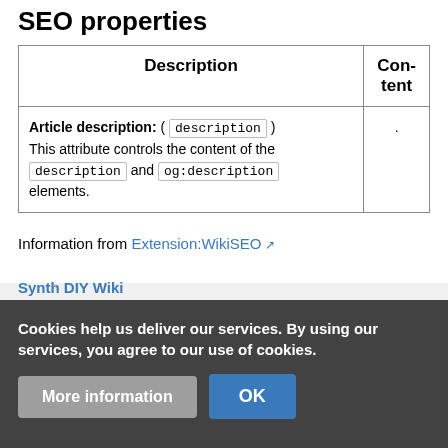SEO properties
| Description | Content |
| --- | --- |
| Article description: ( description ) This attribute controls the content of the description and og:description elements. | . |
Information from Extension:WikiSEO ↗
Cookies help us deliver our services. By using our services, you agree to our use of cookies.
More information   OK